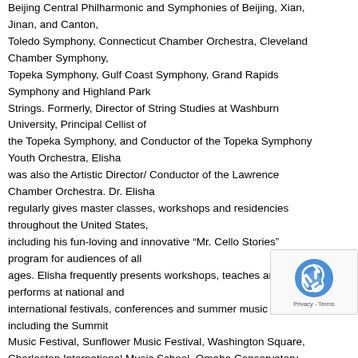Beijing Central Philharmonic and Symphonies of Beijing, Xian, Jinan, and Canton, Toledo Symphony, Connecticut Chamber Orchestra, Cleveland Chamber Symphony, Topeka Symphony, Gulf Coast Symphony, Grand Rapids Symphony and Highland Park Strings. Formerly, Director of String Studies at Washburn University, Principal Cellist of the Topeka Symphony, and Conductor of the Topeka Symphony Youth Orchestra, Elisha was also the Artistic Director/ Conductor of the Lawrence Chamber Orchestra. Dr. Elisha regularly gives master classes, workshops and residencies throughout the United States, including his fun-loving and innovative “Mr. Cello Stories” program for audiences of all ages. Elisha frequently presents workshops, teaches and performs at national and international festivals, conferences and summer music programs, including the Summit Music Festival, Sunflower Music Festival, Washington Square, Charleston International Music School, Omaha Conservatory Institute, College Music Society and American String Teachers National Conference. Elisha
[Figure (other): reCAPTCHA badge with logo and Privacy - Terms text]